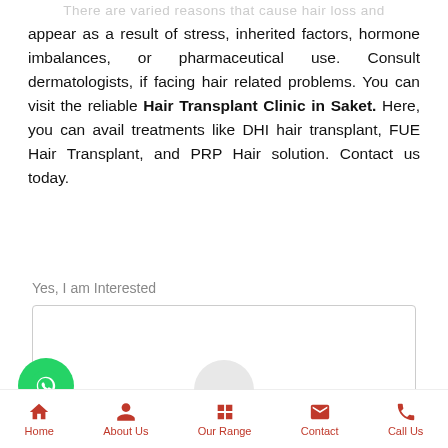There are varied reasons that cause hair loss and appear as a result of stress, inherited factors, hormone imbalances, or pharmaceutical use. Consult dermatologists, if facing hair related problems. You can visit the reliable Hair Transplant Clinic in Saket. Here, you can avail treatments like DHI hair transplant, FUE Hair Transplant, and PRP Hair solution. Contact us today.
Yes, I am Interested
[Figure (screenshot): WhatsApp contact button (green circle with phone handset icon)]
[Figure (screenshot): Send Enquiry button (dark rounded rectangle with red mail icon and white text), loading spinner, and salmon-colored scroll-to-top button]
Home  About Us  Our Range  Contact  Call Us